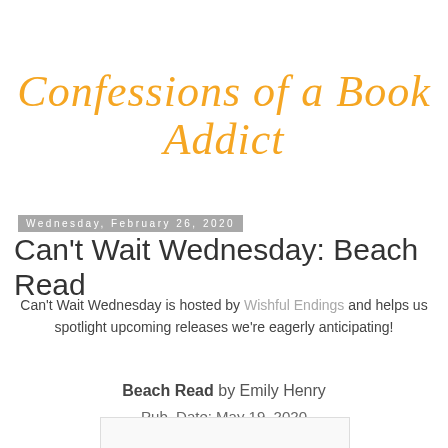Confessions of a Book Addict
Wednesday, February 26, 2020
Can't Wait Wednesday: Beach Read
Can't Wait Wednesday is hosted by Wishful Endings and helps us spotlight upcoming releases we're eagerly anticipating!
Beach Read by Emily Henry
Pub. Date: May 19, 2020
[Figure (photo): Book cover image area (partially visible, light gray placeholder)]